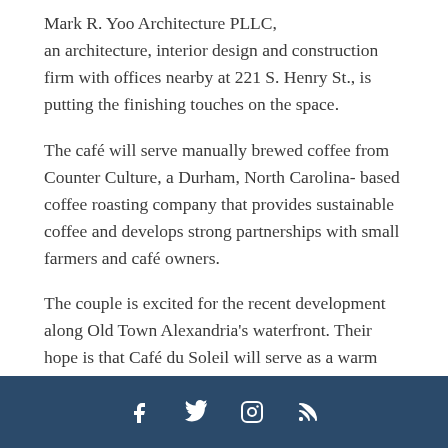Mark R. Yoo Architecture PLLC, an architecture, interior design and construction firm with offices nearby at 221 S. Henry St., is putting the finishing touches on the space.
The café will serve manually brewed coffee from Counter Culture, a Durham, North Carolina- based coffee roasting company that provides sustainable coffee and develops strong partnerships with small farmers and café owners.
The couple is excited for the recent development along Old Town Alexandria's waterfront. Their hope is that Café du Soleil will serve as a warm and inviting spot for local residents, tourists and nearby office workers.
Customers can drop by for a quick breakfast or lunch or stay and hang out. Debessay believes that customers will be drawn by the quality of the coffee
Social media icons: Facebook, Twitter, Instagram, RSS